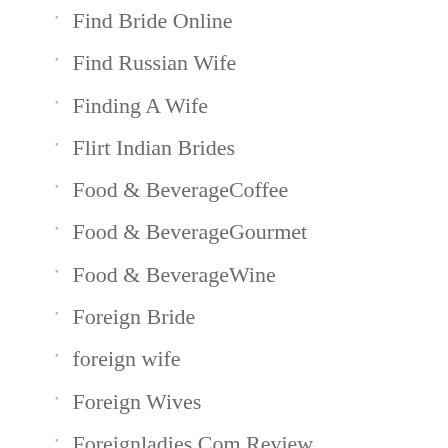Find Bride Online
Find Russian Wife
Finding A Wife
Flirt Indian Brides
Food & BeverageCoffee
Food & BeverageGourmet
Food & BeverageWine
Foreign Bride
foreign wife
Foreign Wives
Foreignladies.Com Review
foreignwomen